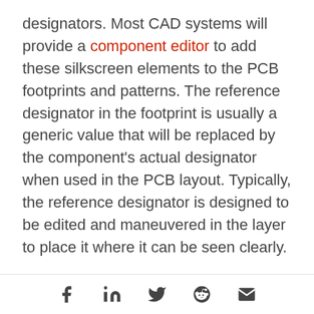designators. Most CAD systems will provide a component editor to add these silkscreen elements to the PCB footprints and patterns. The reference designator in the footprint is usually a generic value that will be replaced by the component's actual designator when used in the PCB layout. Typically, the reference designator is designed to be edited and maneuvered in the layer to place it where it can be seen clearly.
PCB Layout
PCB CAD systems are also set up with different database layers to represent physical layers on
Social share icons: Facebook, LinkedIn, Twitter, Reddit, Email